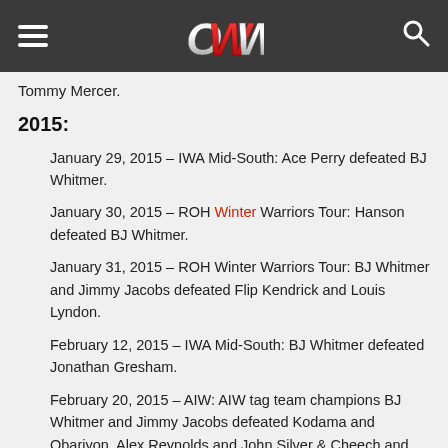OWW navigation header
Tommy Mercer.
2015:
January 29, 2015 – IWA Mid-South: Ace Perry defeated BJ Whitmer.
January 30, 2015 – ROH Winter Warriors Tour: Hanson defeated BJ Whitmer.
January 31, 2015 – ROH Winter Warriors Tour: BJ Whitmer and Jimmy Jacobs defeated Flip Kendrick and Louis Lyndon.
February 12, 2015 – IWA Mid-South: BJ Whitmer defeated Jonathan Gresham.
February 20, 2015 – AIW: AIW tag team champions BJ Whitmer and Jimmy Jacobs defeated Kodama and Obariyon, Alex Reynolds and John Silver & Cheech and